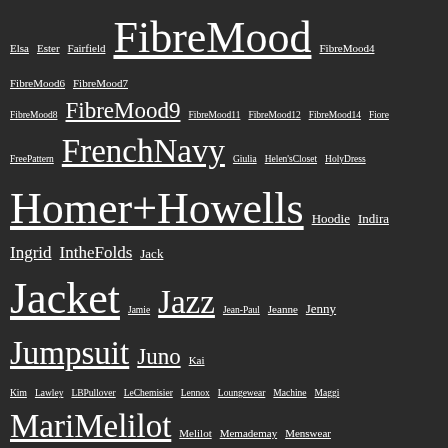Tag cloud containing: Elsa, Ester, Fairfield, FibreMood, FibreMood4, FibreMood6, FibreMood7, FibreMood8, FibreMood9, FibreMood11, FibreMood12, FibreMood14, Fiore, FreePattern, FrenchNavy, Giulia, Helen'sCloset, HolyDress, Homer+Howells, Hoodie, Indira, Ingrid, IntheFolds, Jack, Jacket, Jamie, Jazz, Jean-Paul, Jeanne, Jenny, Jumpsuit, Juno, Kai, Kim, Lawley, LBPullover, LeChemisier, Lennox, Loungewear, Machine, Maggi, MariMelilot, Melilot, Memademay, Menswear, Merchant&Mills, Monthlyupdate, Morningside, MyWardrobe, Mönsterfabriken, Named, Norma, Olive, OsePatterns, Outerwear, Overlap, Pants, Papao, PapercutPatterns, PaperTheory, Patterns, Patternsy, Pekka, Pema, PeppermintMag, Pfaff, Primo, Readytosew, Refashion, Resource, Review, Ruska, SaintShirt, Sara, Scarf, SewHouse7, Shiftdress, Shirt, Shirtdress, Siv, SkillBlazer, Skirt, Sleevescarf, Stacker, Stellan, Sweater, SyAnnRingstrand, T-shirt, Tabor, TheBoxShirt, TheMaker(partial)